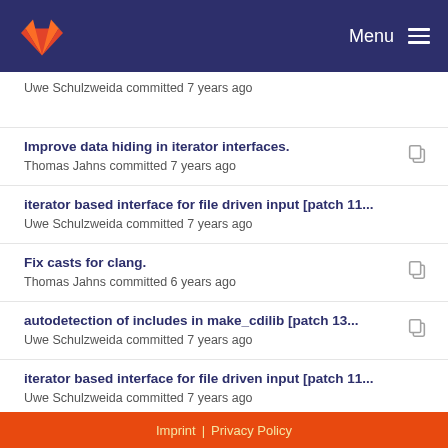Menu
Uwe Schulzweida committed 7 years ago
Improve data hiding in iterator interfaces.
Thomas Jahns committed 7 years ago
iterator based interface for file driven input [patch 11...
Uwe Schulzweida committed 7 years ago
Fix casts for clang.
Thomas Jahns committed 6 years ago
autodetection of includes in make_cdilib [patch 13...
Uwe Schulzweida committed 7 years ago
iterator based interface for file driven input [patch 11...
Uwe Schulzweida committed 7 years ago
Add Emacs footers for consistent coding style.
Thomas Jahns committed 7 years ago
Imprint | Privacy Policy